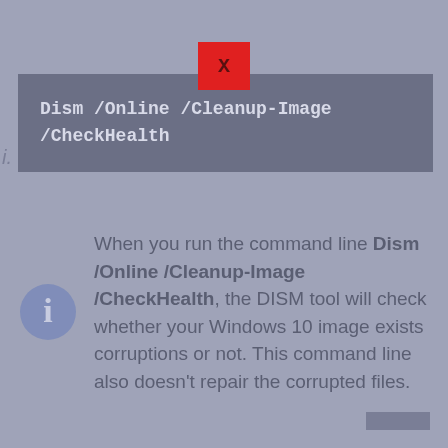[Figure (other): Red close/X button]
i.  Dism /Online /Cleanup-Image /CheckHealth
When you run the command line Dism /Online /Cleanup-Image /CheckHealth, the DISM tool will check whether your Windows 10 image exists corruptions or not. This command line also doesn't repair the corrupted files.